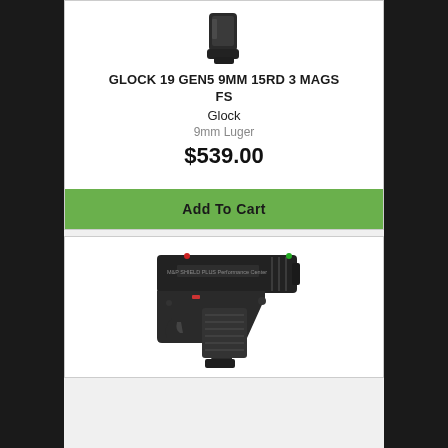[Figure (photo): Glock magazine / partial gun image at top of product card]
GLOCK 19 GEN5 9MM 15RD 3 MAGS FS
Glock
9mm Luger
$539.00
Add To Cart
[Figure (photo): Smith & Wesson M&P Shield Plus Performance Center pistol, black, right-side profile view]